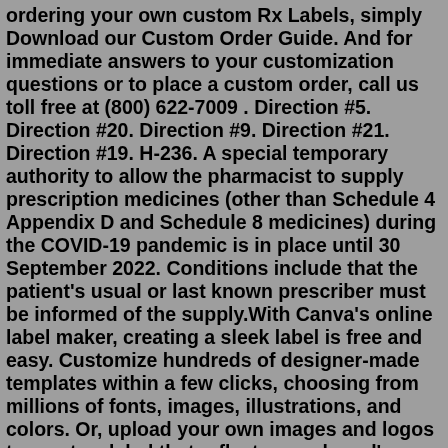ordering your own custom Rx Labels, simply Download our Custom Order Guide. And for immediate answers to your customization questions or to place a custom order, call us toll free at (800) 622-7009 . Direction #5. Direction #20. Direction #9. Direction #21. Direction #19. H-236. A special temporary authority to allow the pharmacist to supply prescription medicines (other than Schedule 4 Appendix D and Schedule 8 medicines) during the COVID-19 pandemic is in place until 30 September 2022. Conditions include that the patient's usual or last known prescriber must be informed of the supply.With Canva's online label maker, creating a sleek label is free and easy. Customize hundreds of designer-made templates within a few clicks, choosing from millions of fonts, images, illustrations, and colors. Or, upload your own images and logos to create a label that reflects your brand's style. From labels that adorn your wedding favors ... Prescription drug monitoring programs (PDMPs), state-run